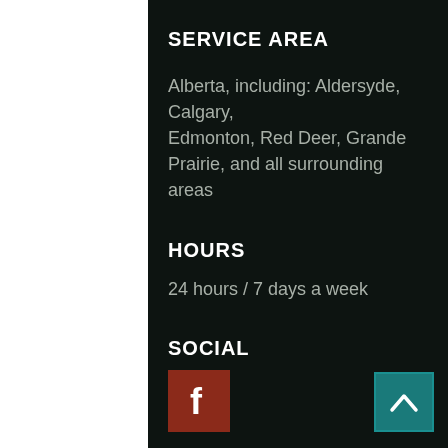SERVICE AREA
Alberta, including: Aldersyde, Calgary, Edmonton, Red Deer, Grande Prairie, and all surrounding areas
HOURS
24 hours / 7 days a week
SOCIAL
[Figure (logo): Facebook icon — white 'f' on dark red/brown square background]
[Figure (other): Up arrow chevron icon on teal/dark cyan square background]